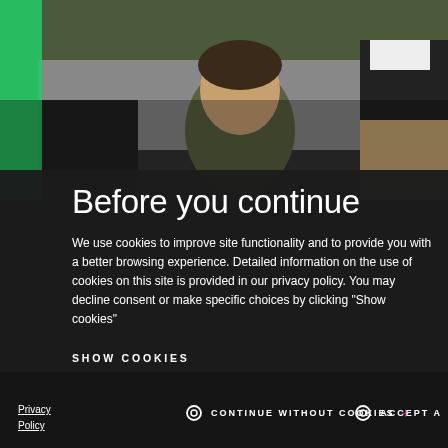[Figure (photo): Outdoor photo of a smiling man in a green jacket surrounded by other people, with a concrete wall and trees in the background. A green accent strip appears on the left side.]
Before you continue
We use cookies to improve site functionality and to provide you with a better browsing experience. Detailed information on the use of cookies on this site is provided in our privacy policy. You may decline consent or make specific choices by clicking "Show cookies"
SHOW COOKIES
Privacy Policy
CONTINUE WITHOUT COOKIES +
ACCEPT A